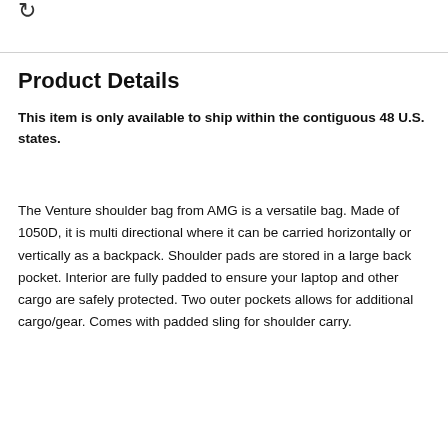Product Details
This item is only available to ship within the contiguous 48 U.S. states.
The Venture shoulder bag from AMG is a versatile bag. Made of 1050D, it is multi directional where it can be carried horizontally or vertically as a backpack. Shoulder pads are stored in a large back pocket. Interior are fully padded to ensure your laptop and other cargo are safely protected. Two outer pockets allows for additional cargo/gear. Comes with padded sling for shoulder carry.